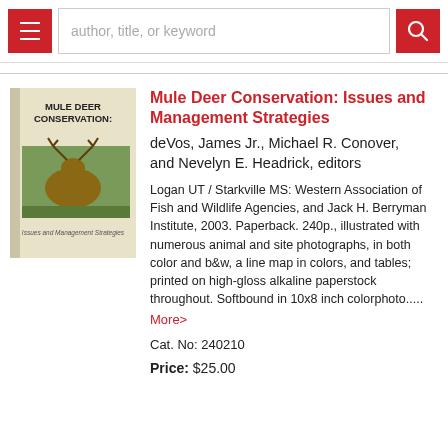author, title, or keyword
[Figure (photo): Book cover of 'Mule Deer Conservation: Issues and Management Strategies' showing a deer with antlers on the cover]
Mule Deer Conservation: Issues and Management Strategies
deVos, James Jr., Michael R. Conover, and Nevelyn E. Headrick, editors
Logan UT / Starkville MS: Western Association of Fish and Wildlife Agencies, and Jack H. Berryman Institute, 2003. Paperback. 240p., illustrated with numerous animal and site photographs, in both color and b&w, a line map in colors, and tables; printed on high-gloss alkaline paperstock throughout. Softbound in 10x8 inch colorphoto.....
More>
Cat. No: 240210
Price: $25.00